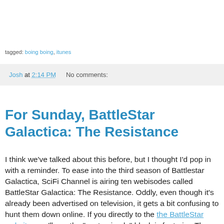tagged: boing boing, itunes
Josh at 2:14 PM    No comments:
For Sunday, BattleStar Galactica: The Resistance
I think we've talked about this before, but I thought I'd pop in with a reminder. To ease into the third season of Battlestar Galactica, SciFi Channel is airing ten webisodes called BattleStar Galactica: The Resistance. Oddly, even though it's already been advertised on television, it gets a bit confusing to hunt them down online. If you directly to the the BattleStar website, you'll see the "next episode" block is featuring The Resistance Part One, but when I click on it ... nothing loads.